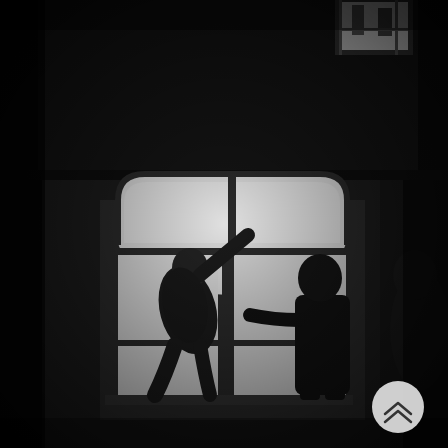[Figure (photo): Black and white photograph showing silhouettes of people near an arched window. In the upper portion, a dark scene with a small lit window visible at the top. In the lower portion, a large arched window through which light streams in. One person is climbing or leaning against the window frame while another person stands in silhouette on the right side reaching toward the window. The overall image is very dark with the bright window as the main light source. A circular scroll-up button with a double chevron icon appears in the bottom right corner.]